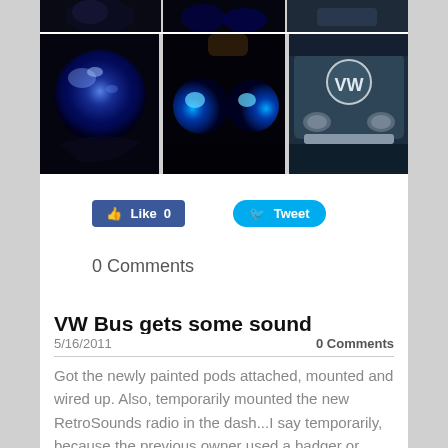[Figure (photo): Top partial row of three dark photos (partially visible at top of page) of VW Bus details with blue lighting]
[Figure (photo): Bottom row of three photos: left shows blue glowing orb/headlight, center shows blue LED lighting on front of VW Bus, right shows front of VW Bus with VW logo and headlights]
[Figure (infographic): Facebook Like button showing count 0 and Twitter Tweet button]
0 Comments
VW Bus gets some sound
5/16/2011
0 Comments
Got the newly painted pods attached, mounted and wired up. Also, temporarily mounted the new RetroSounds radio in the dash...I say temporarily, because the previous owner used a badger or beaver of some type to make the hole a bit wider and the new radio doesn't sit in flush like i should......so the owner will be repainting everything within the next year, so once that's done, the hole will be of perfect size and it'll look